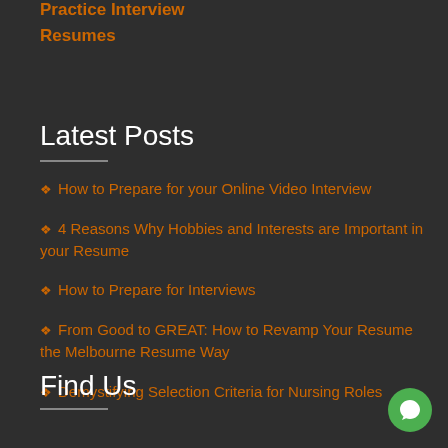Practice Interview
Resumes
Latest Posts
How to Prepare for your Online Video Interview
4 Reasons Why Hobbies and Interests are Important in your Resume
How to Prepare for Interviews
From Good to GREAT: How to Revamp Your Resume the Melbourne Resume Way
Demystifying Selection Criteria for Nursing Roles
Find Us